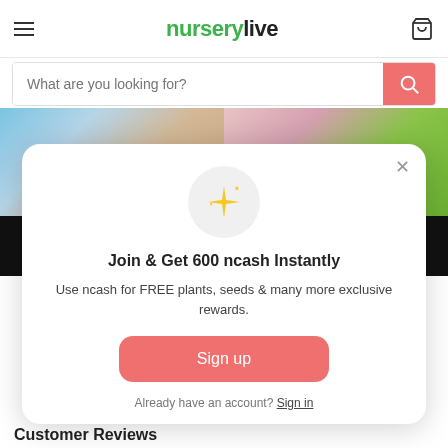nurserylive
What are you looking for?
[Figure (screenshot): Two blurred product/garden images side by side in background]
Join & Get 600 ncash Instantly
Use ncash for FREE plants, seeds & many more exclusive rewards.
Sign up
Already have an account? Sign in
Customer Reviews